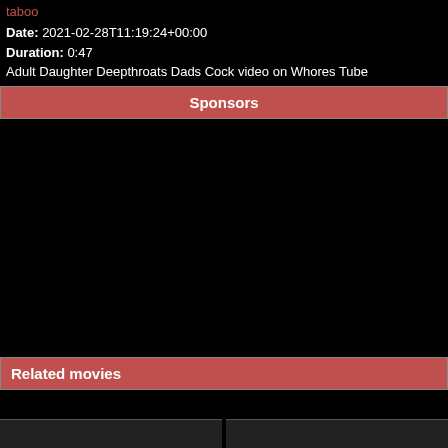taboo
Date: 2021-02-28T11:19:24+00:00
Duration: 0:47
Adult Daughter Deepthroats Dads Cock video on Whores Tube
Sponsors
Related movies